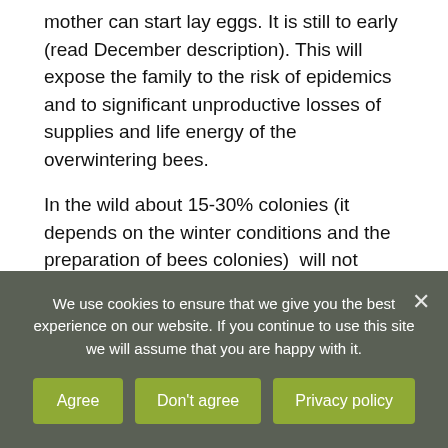mother can start lay eggs. It is still to early (read December description). This will expose the family to the risk of epidemics and to significant unproductive losses of supplies and life energy of the overwintering bees.
In the wild about 15-30% colonies (it depends on the winter conditions and the preparation of bees colonies)  will not survive winter. Much lower mortality concern WindowBee hives. Do not be discouraged and start the adventure again in May if You loose Your colony. However, it is worth to know what was causing the failure. If disturbance and early egg laying or lack of supplies – then You can be calm
We use cookies to ensure that we give you the best experience on our website. If you continue to use this site we will assume that you are happy with it.